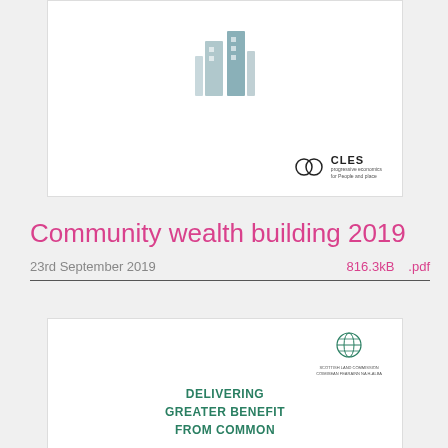[Figure (illustration): Top document card showing a report cover with CLES logo (two overlapping circles) and organization name text]
Community wealth building 2019
23rd September 2019   816.3kB   .pdf
[Figure (illustration): Bottom document card showing Scottish Land Commission logo (globe icon) and text: DELIVERING GREATER BENEFIT FROM COMMON]